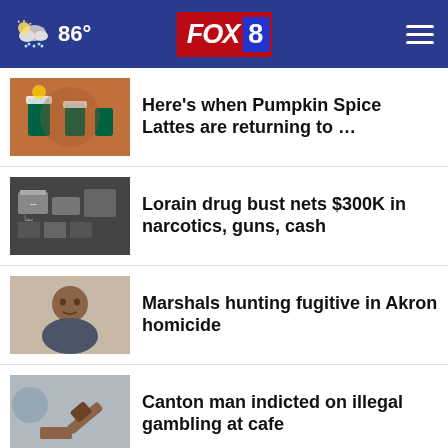FOX 8 | 86°
Here's when Pumpkin Spice Lattes are returning to …
Lorain drug bust nets $300K in narcotics, guns, cash
Marshals hunting fugitive in Akron homicide
Canton man indicted on illegal gambling at cafe
How Ohio mom says honey saved her child's life
Herbal remedy linked to death of U.S. representative's …